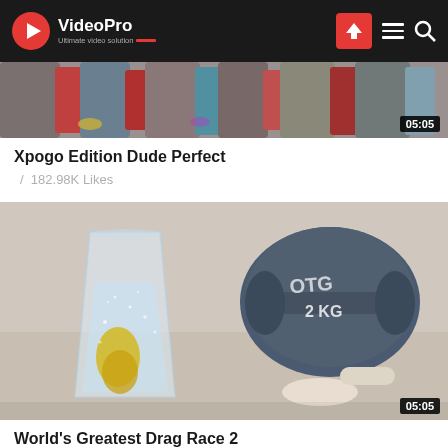VideoPro - Ultimate video solution
[Figure (screenshot): Partial video thumbnail showing gym equipment/weights, with timestamp 05:05]
Xpogo Edition Dude Perfect
/ 182.98K Likes
[Figure (photo): Photo showing a glass of sparkling water with effervescent yellow tablet dissolving, and a 2KG dumbbell weight beside two pills on a surface. Timestamp 05:05.]
World's Greatest Drag Race 2
/ 91.69K Likes